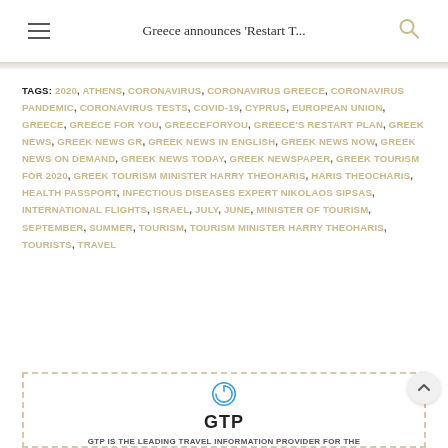Greece announces 'Restart T...
TAGS: 2020, ATHENS, CORONAVIRUS, CORONAVIRUS GREECE, CORONAVIRUS PANDEMIC, CORONAVIRUS TESTS, COVID-19, CYPRUS, EUROPEAN UNION, GREECE, GREECE FOR YOU, GREECEFORYOU, GREECE'S RESTART PLAN, GREEK NEWS, GREEK NEWS GR, GREEK NEWS IN ENGLISH, GREEK NEWS NOW, GREEK NEWS ON DEMAND, GREEK NEWS TODAY, GREEK NEWSPAPER, GREEK TOURISM FOR 2020, GREEK TOURISM MINISTER HARRY THEOHARIS, HARIS THEOCHARIS, HEALTH PASSPORT, INFECTIOUS DISEASES EXPERT NIKOLAOS SIPSAS, INTERNATIONAL FLIGHTS, ISRAEL, JULY, JUNE, MINISTER OF TOURISM, SEPTEMBER, SUMMER, TOURISM, TOURISM MINISTER HARRY THEOHARIS, TOURISTS, TRAVEL
[Figure (logo): GTP circular power button logo in blue, with text GTP and subtitle GTP IS THE LEADING TRAVEL INFORMATION PROVIDER FOR THE...]